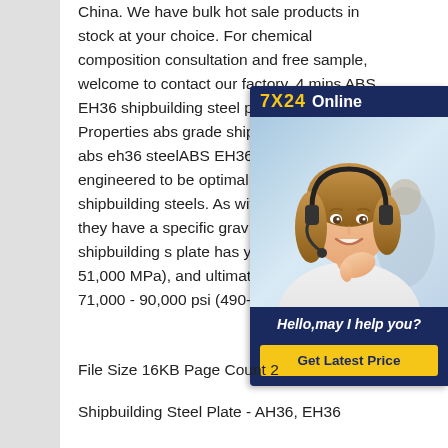China. We have bulk hot sale products in stock at your choice. For chemical composition consultation and free sample, welcome to contact our factory. 4 mins ABS EH36 shipbuilding steel plate Mechanical Properties abs grade shipbuilding steel plate abs eh36 steelABS EH36 shipbuilding steel engineered to be optimal long-lived shipbuilding steels. As with other of steel , they have a specific gravity 7.8. The ABS EH36 shipbuilding steel plate has yield strength of 51,000 MPa), and ultimate tensile strength of 71,000 - 90,000 psi (490-620 MPa).
[Figure (other): Live chat widget with '7X24 Online' header in navy and gold, photo of a woman with a headset smiling, text 'Hello,may I help you?' in italic white on navy, and a gold 'Get Latest Price' button.]
File Size 16KB Page Count 2
Shipbuilding Steel Plate - AH36, EH36